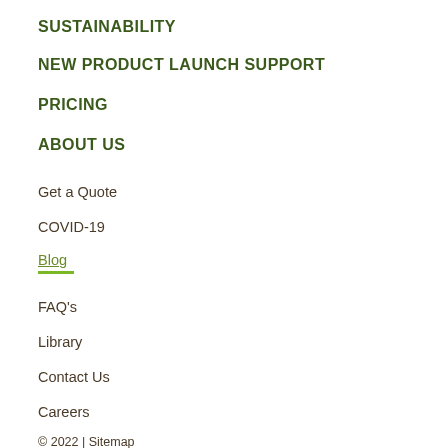SUSTAINABILITY
NEW PRODUCT LAUNCH SUPPORT
PRICING
ABOUT US
Get a Quote
COVID-19
Blog
FAQ's
Library
Contact Us
Careers
© 2022 | Sitemap